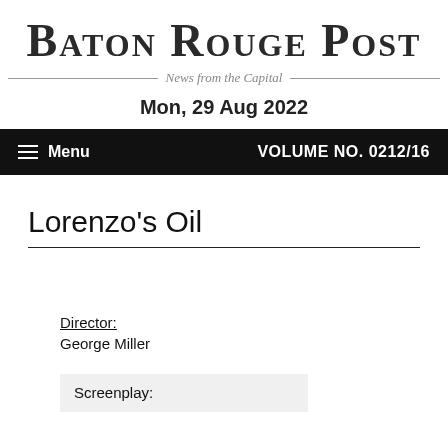Baton Rouge Post
News from the Capital
Mon, 29 Aug 2022
Menu   VOLUME NO. 0212/16
Lorenzo's Oil
Director:
George Miller
Screenplay: